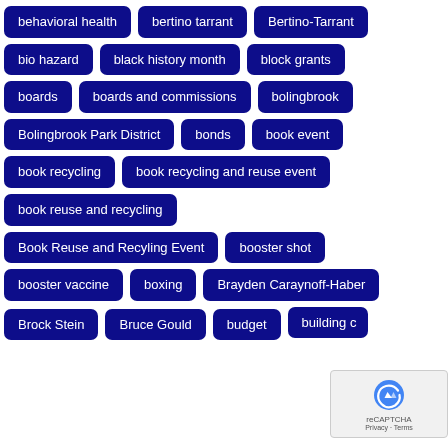behavioral health
bertino tarrant
Bertino-Tarrant
bio hazard
black history month
block grants
boards
boards and commissions
bolingbrook
Bolingbrook Park District
bonds
book event
book recycling
book recycling and reuse event
book reuse and recycling
Book Reuse and Recyling Event
booster shot
booster vaccine
boxing
Brayden Caraynoff-Haber
Brock Stein
Bruce Gould
budget
building c…